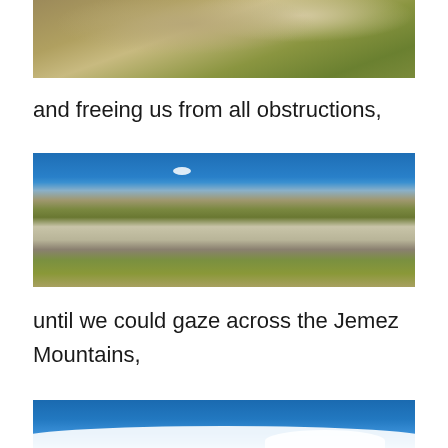[Figure (photo): Partial view of rocky desert landscape with scrub vegetation, tan and gray boulders]
and freeing us from all obstructions,
[Figure (photo): Panoramic landscape view of the Jemez Mountains area showing blue sky, distant mountains, and white rock formations with desert vegetation]
until we could gaze across the Jemez Mountains,
[Figure (photo): Blue sky with white clouds, partial view at bottom of page]